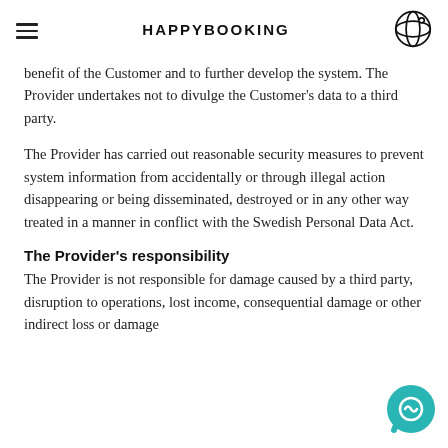HAPPYBOOKING
benefit of the Customer and to further develop the system. The Provider undertakes not to divulge the Customer's data to a third party.
The Provider has carried out reasonable security measures to prevent system information from accidentally or through illegal action disappearing or being disseminated, destroyed or in any other way treated in a manner in conflict with the Swedish Personal Data Act.
The Provider's responsibility
The Provider is not responsible for damage caused by a third party, disruption to operations, lost income, consequential damage or other indirect loss or damage